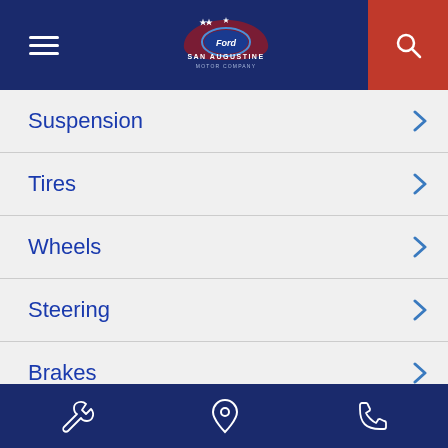San Augustine Motor Company
Suspension
Tires
Wheels
Steering
Brakes
Fuel tank
Exterior dimensions
wrench | location | phone